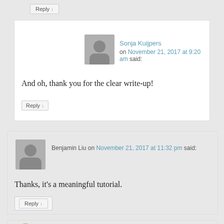Reply ↓
Sonja Kuijpers on November 21, 2017 at 9:20 am said:
And oh, thank you for the clear write-up!
Reply ↓
Benjamin Liu on November 21, 2017 at 11:32 pm said:
Thanks, it's a meaningful tutorial.
Reply ↓
Hi-Tech BPO on December 20, 2017 at 6:49 am said: